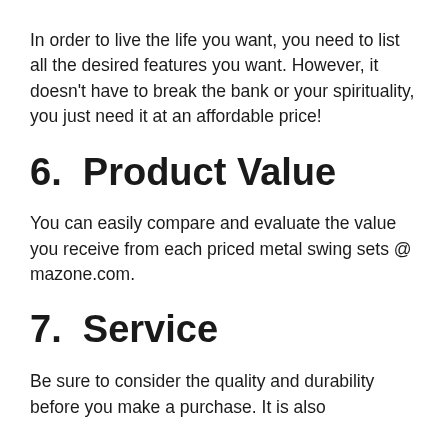In order to live the life you want, you need to list all the desired features you want. However, it doesn't have to break the bank or your spirituality, you just need it at an affordable price!
6.  Product Value
You can easily compare and evaluate the value you receive from each priced metal swing sets @ mazone.com.
7.  Service
Be sure to consider the quality and durability before you make a purchase. It is also